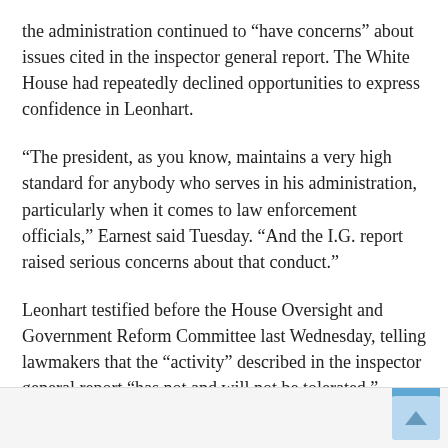the administration continued to “have concerns” about issues cited in the inspector general report. The White House had repeatedly declined opportunities to express confidence in Leonhart.
“The president, as you know, maintains a very high standard for anybody who serves in his administration, particularly when it comes to law enforcement officials,” Earnest said Tuesday. “And the I.G. report raised serious concerns about that conduct.”
Leonhart testified before the House Oversight and Government Reform Committee last Wednesday, telling lawmakers that the “activity” described in the inspector general report “has not and will not be tolerated.”